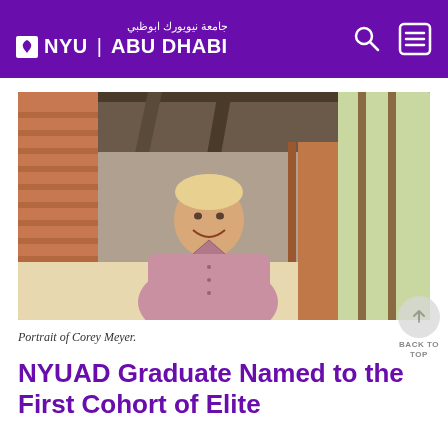جامعة نيويورك ابوظبي | NYU ABU DHABI
[Figure (photo): Portrait of Corey Meyer, a young man smiling, standing in a brick corridor with arched columns and natural light.]
Portrait of Corey Meyer.
NYUAD Graduate Named to the First Cohort of Elite